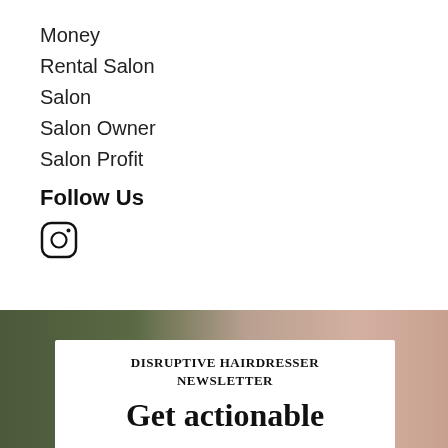Money
Rental Salon
Salon
Salon Owner
Salon Profit
Follow Us
[Figure (illustration): Instagram icon (circle with camera outline)]
[Figure (photo): Background photo showing green tropical leaf on left and pink/peach interior on right, with a white card overlay]
DISRUPTIVE HAIRDRESSER NEWSLETTER
Get actionable